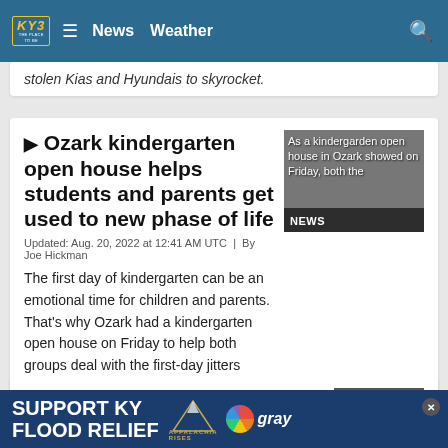KY3 - The Place To Be | News | Weather
stolen Kias and Hyundais to skyrocket.
▶ Ozark kindergarten open house helps students and parents get used to new phase of life
Updated: Aug. 20, 2022 at 12:41 AM UTC  |  By Joe Hickman
The first day of kindergarten can be an emotional time for children and parents. That's why Ozark had a kindergarten open house on Friday to help both groups deal with the first-day jitters before the school year arrives.
▶ Springfield Central High... sets...
SUPPORT KY FLOOD RELIEF — APPALACHIA RISES — gray